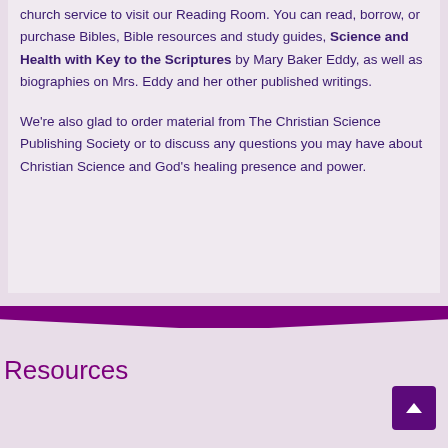church service to visit our Reading Room. You can read, borrow, or purchase Bibles, Bible resources and study guides, Science and Health with Key to the Scriptures by Mary Baker Eddy, as well as biographies on Mrs. Eddy and her other published writings.

We're also glad to order material from The Christian Science Publishing Society or to discuss any questions you may have about Christian Science and God's healing presence and power.
Resources